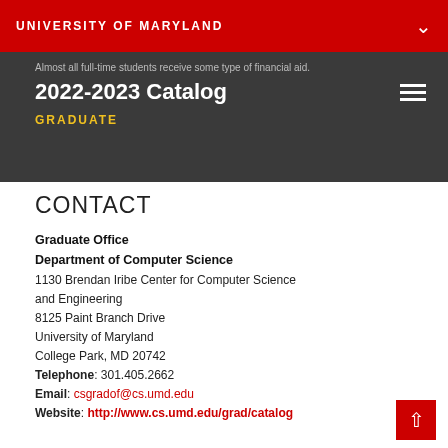UNIVERSITY OF MARYLAND
Almost all full-time students receive some type of financial aid.
2022-2023 Catalog
GRADUATE
CONTACT
Graduate Office
Department of Computer Science
1130 Brendan Iribe Center for Computer Science and Engineering
8125 Paint Branch Drive
University of Maryland
College Park, MD 20742
Telephone: 301.405.2662
Email: csgradof@cs.umd.edu
Website: http://www.cs.umd.edu/grad/catalog